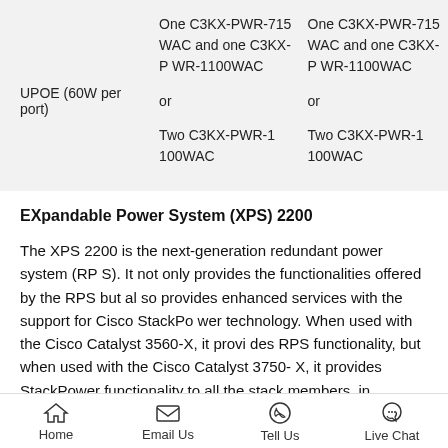|  | Column 1 | Column 2 |
| --- | --- | --- |
| UPOE (60W per port) | One C3KX-PWR-715WAC and one C3KX-PWR-1100WAC
or
Two C3KX-PWR-1100WAC | One C3KX-PWR-715WAC and one C3KX-PWR-1100WAC
or
Two C3KX-PWR-1100WAC |
EXpandable Power System (XPS) 2200
The XPS 2200 is the next-generation redundant power system (RPS). It not only provides the functionalities offered by the RPS but also provides enhanced services with the support for Cisco StackPower technology. When used with the Cisco Catalyst 3560-X, it provides RPS functionality, but when used with the Cisco Catalyst 3750-X, it provides StackPower functionality to all the stack members, in
Home   Email Us   Tell Us   Live Chat